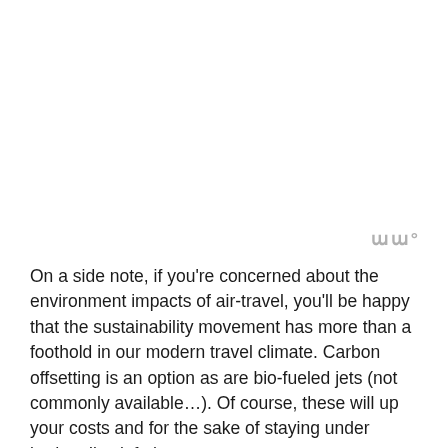On a side note, if you're concerned about the environment impacts of air-travel, you'll be happy that the sustainability movement has more than a foothold in our modern travel climate. Carbon offsetting is an option as are bio-fueled jets (not commonly available…). Of course, these will up your costs and for the sake of staying under budget I've left them out.